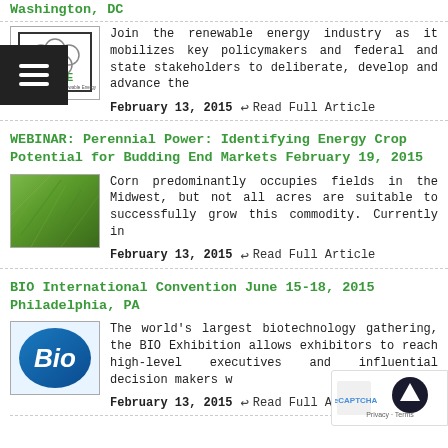Washington, DC
[Figure (logo): ACORE American Council On Renewable Energy logo with hamburger menu overlay]
Join the renewable energy industry as it mobilizes key policymakers and federal and state stakeholders to deliberate, develop and advance the
February 13, 2015  ← Read Full Article
WEBINAR: Perennial Power: Identifying Energy Crop Potential for Budding End Markets February 19, 2015
[Figure (photo): Close-up photo of green plant/crop leaves]
Corn predominantly occupies fields in the Midwest, but not all acres are suitable to successfully grow this commodity. Currently in
February 13, 2015  ← Read Full Article
BIO International Convention June 15-18, 2015 Philadelphia, PA
[Figure (logo): BIO logo - blue gradient with Bio text in white]
The world's largest biotechnology gathering, the BIO Exhibition allows exhibitors to reach high-level executives and influential decision makers w
February 13, 2015  ← Read Full Article